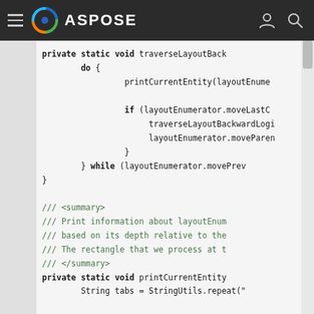ASPOSE
private static void traverseLayoutBack
    do {
            printCurrentEntity(layoutEnume

            if (layoutEnumerator.moveLastC
                traverseLayoutBackwardLogi
                layoutEnumerator.moveParen
            }
    } while (layoutEnumerator.movePrev
}
/// <summary>
/// Print information about layoutEnum
/// based on its depth relative to the
/// The rectangle that we process at t
/// </summary>
private static void printCurrentEntity
    String tabs = StringUtils.repeat("

    System.out.println(layoutEnumerato